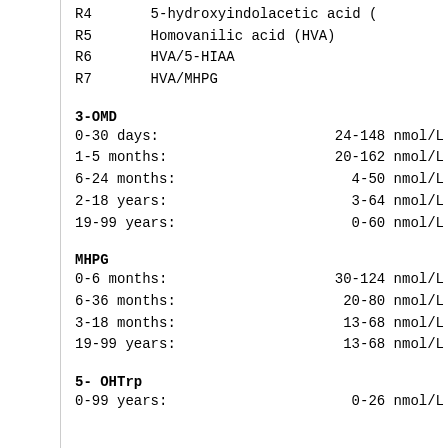R4    5-hydroxyindolacetic acid (
R5    Homovanilic acid (HVA)
R6    HVA/5-HIAA
R7    HVA/MHPG
3-OMD
0-30 days:    24-148 nmol/L
1-5 months:   20-162 nmol/L
6-24 months:    4-50 nmol/L
2-18 years:    3-64 nmol/L
19-99 years:    0-60 nmol/L
MHPG
0-6 months:   30-124 nmol/L
6-36 months:   20-80 nmol/L
3-18 months:   13-68 nmol/L
19-99 years:   13-68 nmol/L
5- OHTrp
0-99 years:    0-26 nmol/L